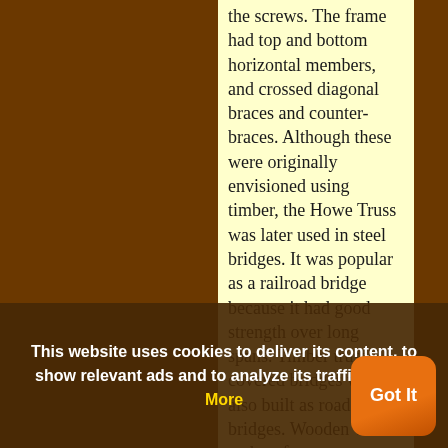the screws. The frame had top and bottom horizontal members, and crossed diagonal braces and counter-braces. Although these were originally envisioned using timber, the Howe Truss was later used in steel bridges. It was popular as a railroad bridge because it had good strength over long spans. Timber truss covered bridges were also built as road bridges. Wooden walls and roof were
This website uses cookies to deliver its content, to show relevant ads and to analyze its traffic. Learn More